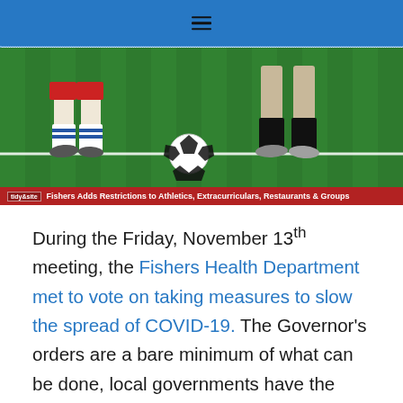Navigation menu
[Figure (photo): Soccer players' legs and feet near a soccer ball on a green grass field, with a red caption bar reading 'Fishers Adds Restrictions to Athletics, Extracurriculars, Restaurants & Groups']
During the Friday, November 13th meeting, the Fishers Health Department met to vote on taking measures to slow the spread of COVID-19. The Governor's orders are a bare minimum of what can be done, local governments have the authority to be more restrictive but cannot be less restrictive.